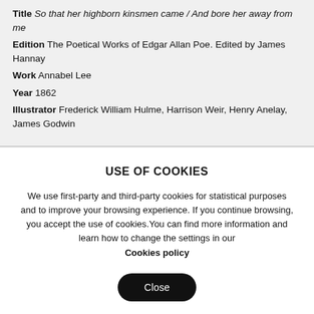Title So that her highborn kinsmen came / And bore her away from me
Edition The Poetical Works of Edgar Allan Poe. Edited by James Hannay
Work Annabel Lee
Year 1862
Illustrator Frederick William Hulme, Harrison Weir, Henry Anelay, James Godwin
USE OF COOKIES
We use first-party and third-party cookies for statistical purposes and to improve your browsing experience. If you continue browsing, you accept the use of cookies.You can find more information and learn how to change the settings in our
Cookies policy
Close